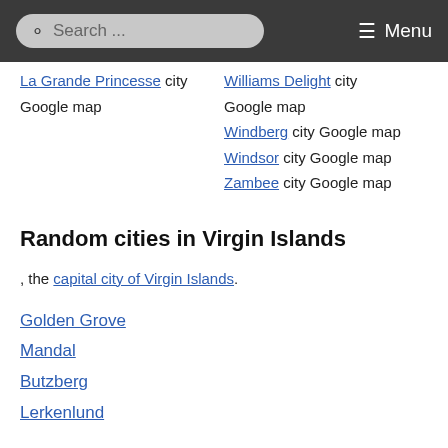Search ... Menu
La Grande Princesse city Google map
Williams Delight city Google map
Windberg city Google map
Windsor city Google map
Zambee city Google map
Random cities in Virgin Islands
, the capital city of Virgin Islands.
Golden Grove
Mandal
Butzberg
Lerkenlund